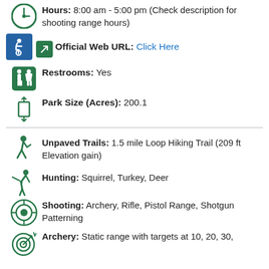Hours: 8:00 am - 5:00 pm (Check description for shooting range hours)
Official Web URL: Click Here
Restrooms: Yes
Park Size (Acres): 200.1
Unpaved Trails: 1.5 mile Loop Hiking Trail (209 ft Elevation gain)
Hunting: Squirrel, Turkey, Deer
Shooting: Archery, Rifle, Pistol Range, Shotgun Patterning
Archery: Static range with targets at 10, 20, 30,